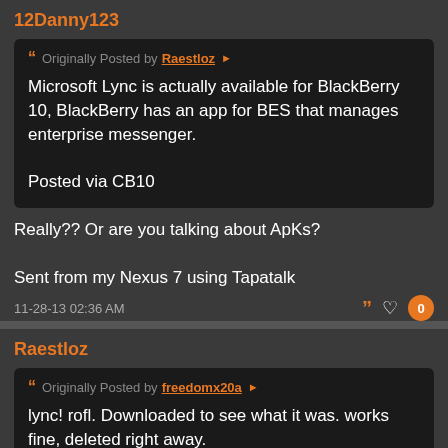12Danny123
Originally Posted by Raestloz
Microsoft Lync is actually available for BlackBerry 10, BlackBerry has an app for BES that manages enterprise messenger.

Posted via CB10
Really?? Or are you talking about ApKs?

Sent from my Nexus 7 using Tapatalk
11-28-13 02:36 AM
Raestloz
Originally Posted by freedomx20a
lync! rofl. Downloaded to see what it was. works fine, deleted right away.